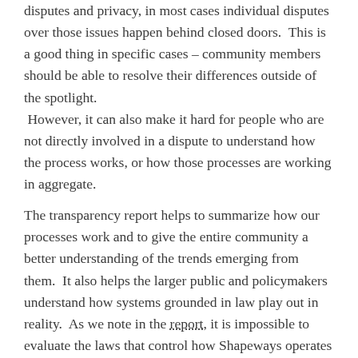disputes and privacy, in most cases individual disputes over those issues happen behind closed doors.  This is a good thing in specific cases – community members should be able to resolve their differences outside of the spotlight.  However, it can also make it hard for people who are not directly involved in a dispute to understand how the process works, or how those processes are working in aggregate.
The transparency report helps to summarize how our processes work and to give the entire community a better understanding of the trends emerging from them.  It also helps the larger public and policymakers understand how systems grounded in law play out in reality.  As we note in the report, it is impossible to evaluate the laws that control how Shapeways operates without understanding how those laws impact Shapeways and the Shapeways community.
What's in this report?